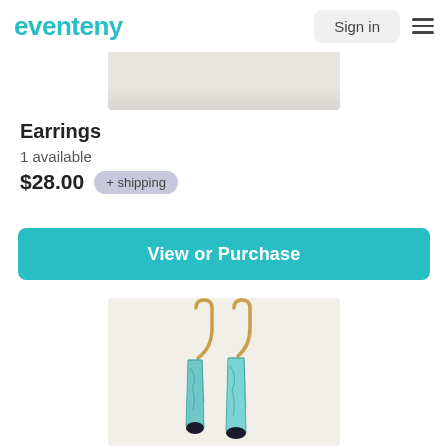eventeny   Sign in  ☰
[Figure (photo): Partial view of a product image at the top of the listing, showing a light-colored surface against white background]
Earrings
1 available
$28.00  + shipping
View or Purchase
[Figure (photo): Photo of a pair of turquoise/teal dangle earrings with gold-tone wire hooks, elongated teardrop or rectangular shape with dark accent at bottom, displayed against a light beige background]